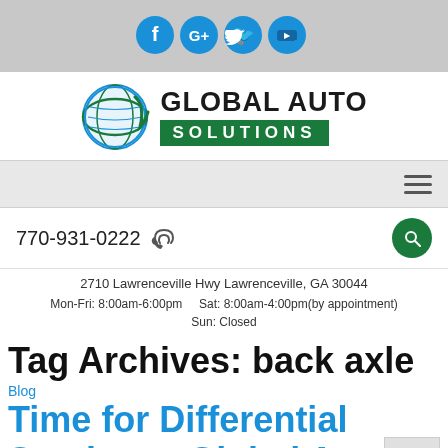[Figure (infographic): Social media icons bar: Facebook, Google+, Twitter, YouTube circular blue icons on gray background]
[Figure (logo): Global Auto Solutions logo with globe graphic and green SOLUTIONS banner]
[Figure (infographic): Navigation bar with hamburger menu icon]
770-931-0222
2710 Lawrenceville Hwy Lawrenceville, GA 30044
Mon-Fri: 8:00am-6:00pm   Sat: 8:00am-4:00pm(by appointment)
Sun: Closed
Tag Archives: back axle
Blog
Time for Differential Service at Global Auto